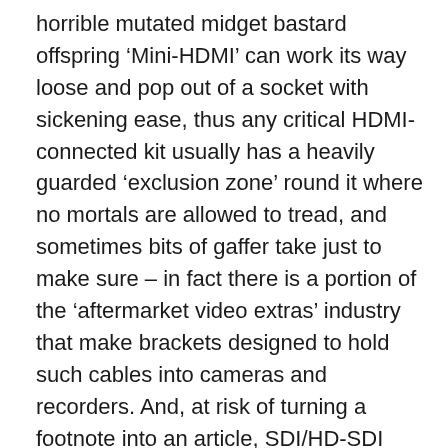horrible mutated midget bastard offspring ‘Mini-HDMI’ can work its way loose and pop out of a socket with sickening ease, thus any critical HDMI-connected kit usually has a heavily guarded ‘exclusion zone’ round it where no mortals are allowed to tread, and sometimes bits of gaffer take just to make sure – in fact there is a portion of the ‘aftermarket video extras’ industry that make brackets designed to hold such cables into cameras and recorders. And, at risk of turning a footnote into an article, SDI/HD-SDI travels over ordinary 75 Ohm Coax over long distances, unlike the multicore short lengths of overpriced HDMI cables. So, yes, HD-SDI makes sense purely from a connector point of view.
** Notwithstanding the 4:4:4:4 recorders from Convergent Design and now Sound Devices. Basically, a 1.5G HD-SDI signal carrying 10 bit 4:2:2 output will be...